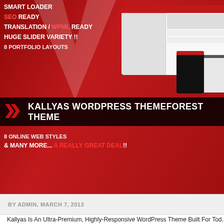[Figure (screenshot): Kallyas WordPress ThemeForest theme promotional banner with red background, feature list text (Smart Loader, SEO Ready, Translation/WPML Ready, Huge Slider Variety, 8 Portfolio Layouts), overlay title bar, and mock device screenshots]
BY ADMIN, MARCH 7, 2013
Kallyas Is An Ultra-Premium, Highly-Responsive WordPress Theme Built For Tod... Clean Design (And Code), Without No Modesty, One Of The Most Complete The... Latest Techologies And Trends And It Can Be… Read More »
[Figure (screenshot): Second article image showing a monitor with a nature/field theme website and a dark right panel with text Chu, Res, Cus]